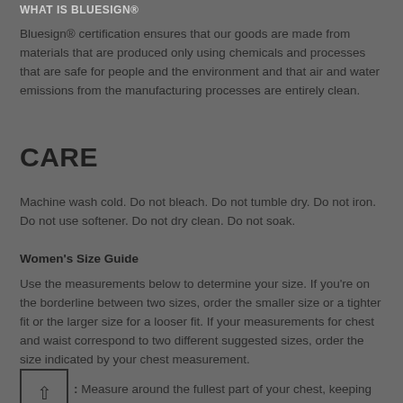WHAT IS BLUESIGN®
Bluesign® certification ensures that our goods are made from materials that are produced only using chemicals and processes that are safe for people and the environment and that air and water emissions from the manufacturing processes are entirely clean.
CARE
Machine wash cold. Do not bleach. Do not tumble dry. Do not iron. Do not use softener. Do not dry clean. Do not soak.
Women's Size Guide
Use the measurements below to determine your size. If you're on the borderline between two sizes, order the smaller size or a tighter fit or the larger size for a looser fit. If your measurements for chest and waist correspond to two different suggested sizes, order the size indicated by your chest measurement.
: Measure around the fullest part of your chest, keeping the